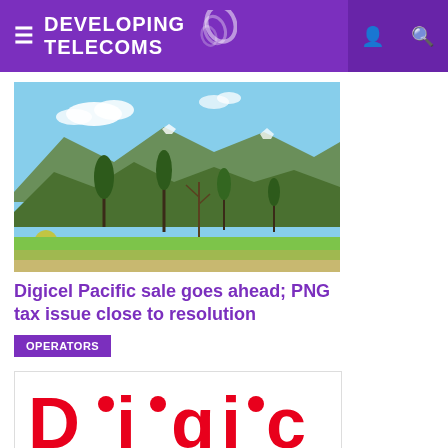Developing Telecoms
[Figure (photo): Tropical/mountain landscape with blue sky, clouds, mountains, tall trees and green vegetation in Papua New Guinea]
Digicel Pacific sale goes ahead; PNG tax issue close to resolution
OPERATORS
[Figure (logo): Digicel logo in red text, partially visible at bottom of page]